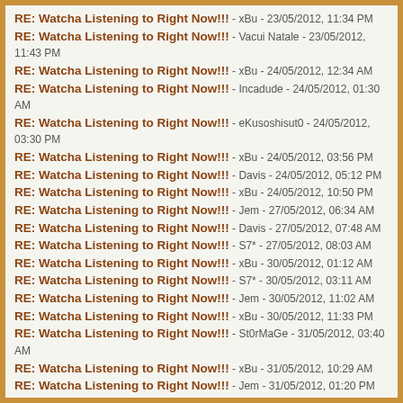RE: Watcha Listening to Right Now!!! - xBu - 23/05/2012, 11:34 PM
RE: Watcha Listening to Right Now!!! - Vacui Natale - 23/05/2012, 11:43 PM
RE: Watcha Listening to Right Now!!! - xBu - 24/05/2012, 12:34 AM
RE: Watcha Listening to Right Now!!! - Incadude - 24/05/2012, 01:30 AM
RE: Watcha Listening to Right Now!!! - eKusoshisut0 - 24/05/2012, 03:30 PM
RE: Watcha Listening to Right Now!!! - xBu - 24/05/2012, 03:56 PM
RE: Watcha Listening to Right Now!!! - Davis - 24/05/2012, 05:12 PM
RE: Watcha Listening to Right Now!!! - xBu - 24/05/2012, 10:50 PM
RE: Watcha Listening to Right Now!!! - Jem - 27/05/2012, 06:34 AM
RE: Watcha Listening to Right Now!!! - Davis - 27/05/2012, 07:48 AM
RE: Watcha Listening to Right Now!!! - S7* - 27/05/2012, 08:03 AM
RE: Watcha Listening to Right Now!!! - xBu - 30/05/2012, 01:12 AM
RE: Watcha Listening to Right Now!!! - S7* - 30/05/2012, 03:11 AM
RE: Watcha Listening to Right Now!!! - Jem - 30/05/2012, 11:02 AM
RE: Watcha Listening to Right Now!!! - xBu - 30/05/2012, 11:33 PM
RE: Watcha Listening to Right Now!!! - St0rMaGe - 31/05/2012, 03:40 AM
RE: Watcha Listening to Right Now!!! - xBu - 31/05/2012, 10:29 AM
RE: Watcha Listening to Right Now!!! - Jem - 31/05/2012, 01:20 PM
RE: Watcha Listening to Right Now!!! - xBu - 01/06/2012, 12:35 AM
RE: Watcha Listening to Right Now!!! - Davis - 01/06/2012, 03:58 AM